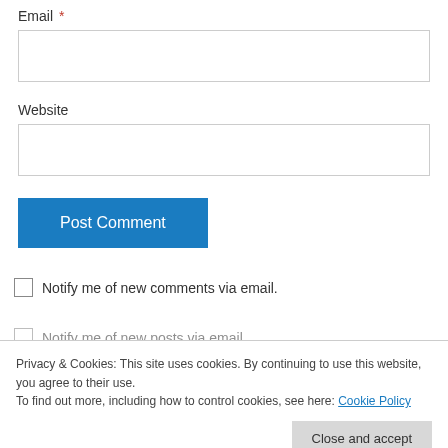Email *
Website
Post Comment
Notify me of new comments via email.
Notify me of new posts via email.
Privacy & Cookies: This site uses cookies. By continuing to use this website, you agree to their use. To find out more, including how to control cookies, see here: Cookie Policy
Close and accept
all of the photos :) I am the same way and